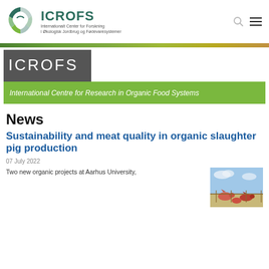ICROFS — Internationalt Center for Forskning i Økologisk Jordbrug og Fødevaresystemer
[Figure (logo): ICROFS circular logo with dark teal and light green segments, followed by bold teal ICROFS text and Danish subtitle]
[Figure (illustration): Colorful gradient banner strip running full width — green to yellow-brown]
[Figure (logo): Dark grey box with white ICROFS text, below it a green bar with white italic text: International Centre for Research in Organic Food Systems]
News
Sustainability and meat quality in organic slaughter pig production
07 July 2022
Two new organic projects at Aarhus University,
[Figure (photo): Photograph of pigs outdoors, visible against a blue sky background]